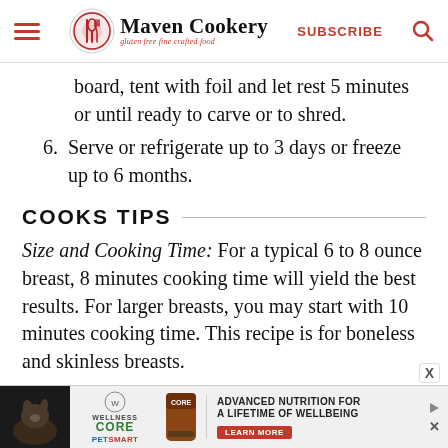Maven Cookery — gluten free fine crafted food | SUBSCRIBE
board, tent with foil and let rest 5 minutes or until ready to carve or to shred.
6. Serve or refrigerate up to 3 days or freeze up to 6 months.
COOKS TIPS
Size and Cooking Time: For a typical 6 to 8 ounce breast, 8 minutes cooking time will yield the best results. For larger breasts, you may start with 10 minutes cooking time. This recipe is for boneless and skinless breasts.
[Figure (advertisement): PetSmart/Wellness Core advertisement — Advanced Nutrition for a Lifetime of Wellbeing, with Learn More button]